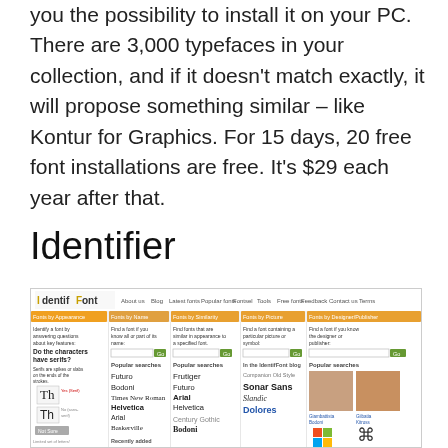you the possibility to install it on your PC. There are 3,000 typefaces in your collection, and if it doesn't match exactly, it will propose something similar – like Kontur for Graphics. For 15 days, 20 free font installations are free. It's $29 each year after that.
Details
Identifier
[Figure (screenshot): Screenshot of the IdentifFont website showing font identification interface with categories: Fonts by Appearance, Fonts by Name, Fonts by Similarity, Fonts by Picture, Fonts by Designer/Publisher. Popular searches listed include Futuro, Bodoni, Times New Roman, Helvetica, Arial, Baskerville, Frutiger, Futuro, Arial, Helvetica, Century Gothic, Bodoni. Side panel shows In the IdentifFont blog with Companion Old Style, Sonar Sans, Slandic, Dolores. Bottom right shows Microsoft and Apple logos.]